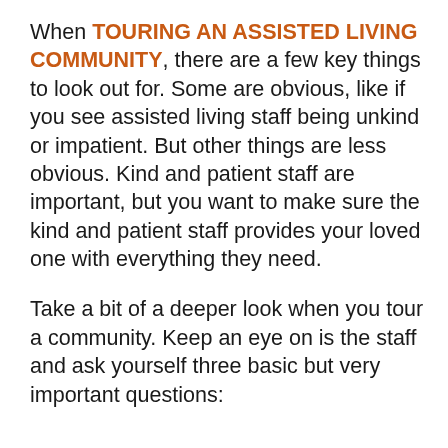When TOURING AN ASSISTED LIVING COMMUNITY, there are a few key things to look out for. Some are obvious, like if you see assisted living staff being unkind or impatient. But other things are less obvious. Kind and patient staff are important, but you want to make sure the kind and patient staff provides your loved one with everything they need.
Take a bit of a deeper look when you tour a community. Keep an eye on is the staff and ask yourself three basic but very important questions: